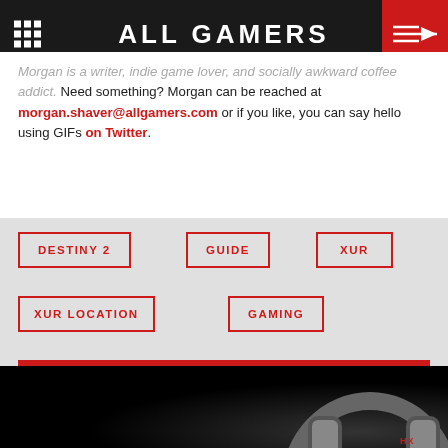ALL GAMERS
Morgan is a writer, indie game lover, and socially awkward coffee addict. Need something? Morgan can be reached at morgan.shaver@allgamers.com or if you like, you can say hello using GIFs on Twitter.
DESTINY 2
GUIDE
XUR
XUR LOCATION
GAMING
LOAD COMMENTS
[Figure (photo): Dark background with HyperX gaming headset visible at bottom right]